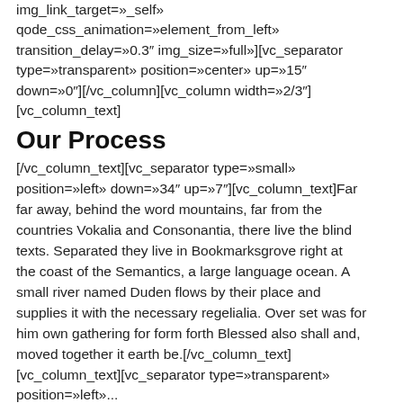img_link_target=»_self» qode_css_animation=»element_from_left» transition_delay=»0.3″ img_size=»full»][vc_separator type=»transparent» position=»center» up=»15″ down=»0″][/vc_column][vc_column width=»2/3″] [vc_column_text]
Our Process
[/vc_column_text][vc_separator type=»small» position=»left» down=»34″ up=»7″][vc_column_text]Far far away, behind the word mountains, far from the countries Vokalia and Consonantia, there live the blind texts. Separated they live in Bookmarksgrove right at the coast of the Semantics, a large language ocean. A small river named Duden flows by their place and supplies it with the necessary regelialia. Over set was for him own gathering for form forth Blessed also shall and, moved together it earth be.[/vc_column_text]
[vc_column_text][vc_separator type=»transparent» position=»left»...